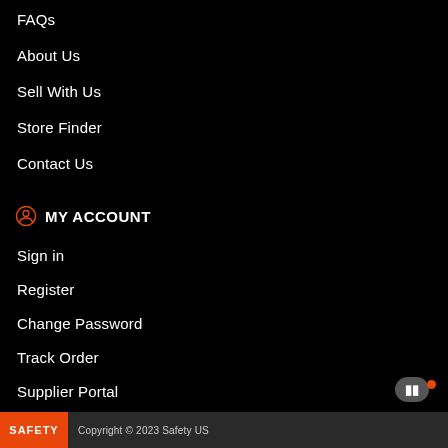FAQs
About Us
Sell With Us
Store Finder
Contact Us
MY ACCOUNT
Sign in
Register
Change Password
Track Order
Supplier Portal
SAFETY  Copyright © 2023 Safety US